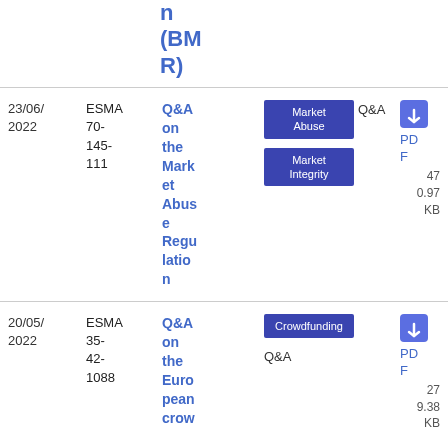n (BMR)
| Date | Reference | Title | Tags | Type | File |
| --- | --- | --- | --- | --- | --- |
| 23/06/2022 | ESMA 70-145-111 | Q&A on the Market Abuse Regulation | Market Abuse | Market Integrity | Q&A | PDF 0.97 KB 47 |
| 20/05/2022 | ESMA 35-42-1088 | Q&A on the European crow... | Crowdfunding | Q&A | PDF 279.38 KB |